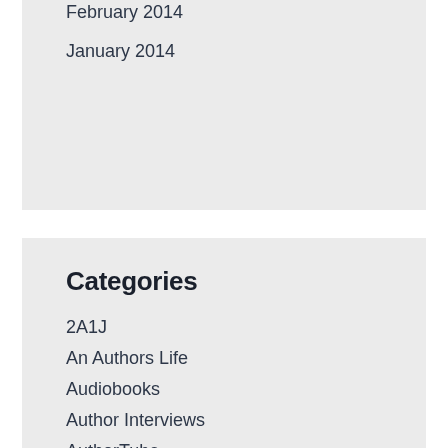February 2014
January 2014
Categories
2A1J
An Authors Life
Audiobooks
Author Interviews
AuthorTube
Book review
Comics